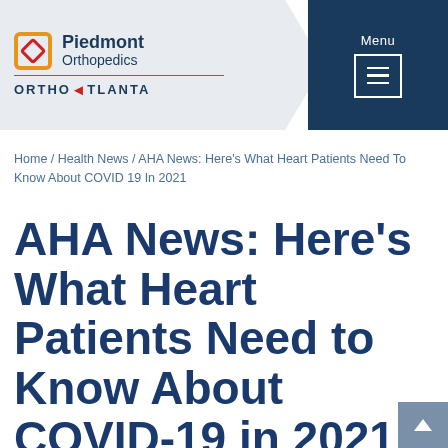Piedmont Orthopedics | OrthoAtlanta — Menu
Home / Health News / AHA News: Here's What Heart Patients Need To Know About COVID 19 In 2021
AHA News: Here's What Heart Patients Need to Know About COVID-19 in 2021